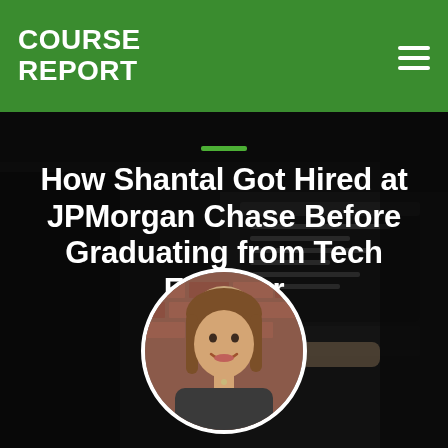COURSE REPORT
How Shantal Got Hired at JPMorgan Chase Before Graduating from Tech Elevator
[Figure (photo): Circular profile photo of Shantal, a young woman with long brown hair, smiling, standing in front of a brick wall]
[Figure (photo): Background photo showing people working on laptops, dark overlay applied]